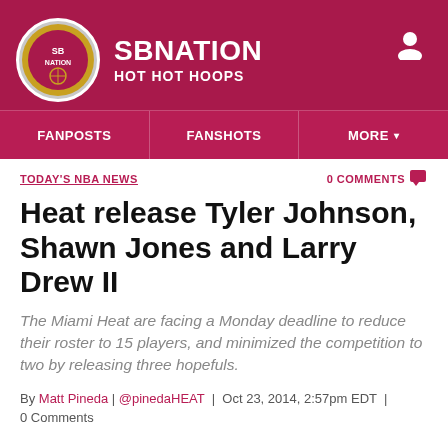SBNATION HOT HOT HOOPS
FANPOSTS | FANSHOTS | MORE
TODAY'S NBA NEWS
0 COMMENTS
Heat release Tyler Johnson, Shawn Jones and Larry Drew II
The Miami Heat are facing a Monday deadline to reduce their roster to 15 players, and minimized the competition to two by releasing three hopefuls.
By Matt Pineda | @pinedaHEAT | Oct 23, 2014, 2:57pm EDT | 0 Comments